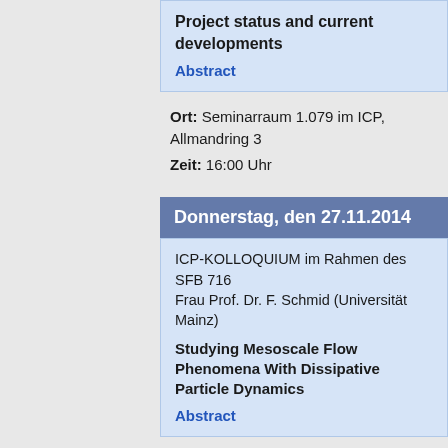Project status and current developments
Abstract
Ort: Seminarraum 1.079 im ICP, Allmandring 3
Zeit: 16:00 Uhr
Donnerstag, den 27.11.2014
ICP-KOLLOQUIUM im Rahmen des SFB 716
Frau Prof. Dr. F. Schmid (Universität Mainz)
Studying Mesoscale Flow Phenomena With Dissipative Particle Dynamics
Abstract